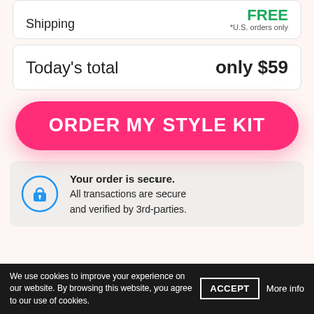|  |  |
| --- | --- |
| Shipping | FREE
*U.S. orders only |
|  |  |
| --- | --- |
| Today's total | only $59 |
ORDER MY STYLE KIT
Your order is secure. All transactions are secure and verified by 3rd-parties.
We use cookies to improve your experience on our website. By browsing this website, you agree to our use of cookies.